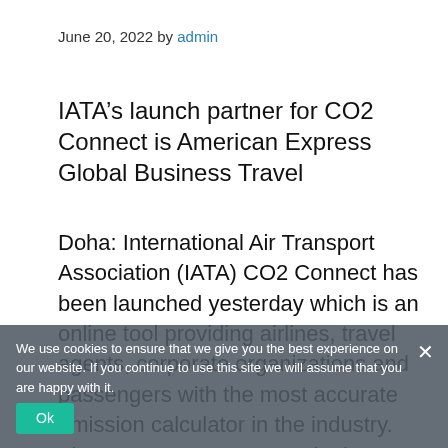June 20, 2022 by admin
IATA’s launch partner for CO2 Connect is American Express Global Business Travel
Doha: International Air Transport Association (IATA) CO2 Connect has been launched yesterday which is an online tool providing airlines, travel agents, corporate organizations and passengers with the most accurate emission calculator in the industry. The announcement came in time as the industry targets net zero by 2050.
It was October 2021 that IATA approved a resolution for the global air transport to achieve net zero carbon emission by 2050
We use cookies to ensure that we give you the best experience on our website. If you continue to use this site we will assume that you are happy with it.